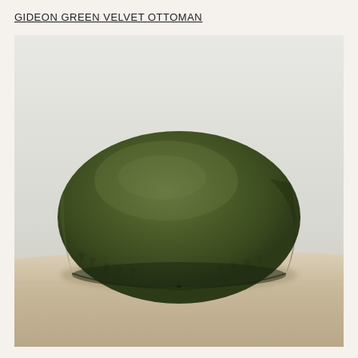GIDEON GREEN VELVET OTTOMAN
[Figure (photo): A round, bulbous green velvet ottoman sitting on a light wood floor against a light gray/white wall. The ottoman is a deep olive/forest green color with visible fabric folds and wrinkles around the lower portion. It has a puffy, rounded pillow-like shape with a very low profile.]